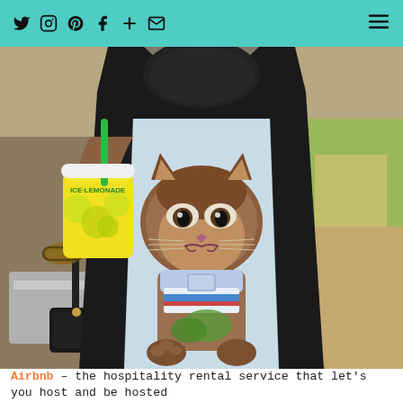Social media navigation header with icons: Twitter, Instagram, Pinterest, Facebook, Plus, Email, and hamburger menu
[Figure (photo): A person wearing a cat graphic tank top (grumpy cat design on light blue mesh top) holding a yellow lemonade cup at an outdoor market/festival. The person wears a black bag and sunglasses are visible.]
Airbnb – the hospitality rental service that let's you host and be hosted